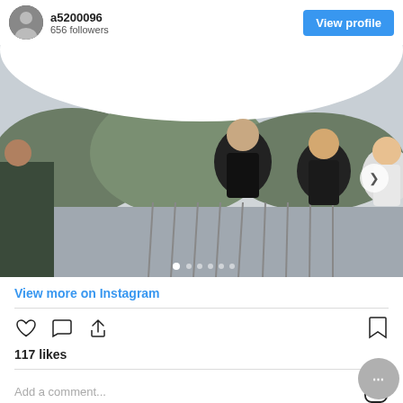a5200096
656 followers
View profile
[Figure (photo): Three people smiling on a bridge or elevated walkway with mountainous scenery in the background, taken with a fisheye/wide-angle lens. There is a carousel navigation arrow on the right side and dot indicators at the bottom.]
View more on Instagram
[Figure (other): Instagram action icons row: heart (like), comment bubble, share arrow, and bookmark icon]
117 likes
Add a comment...